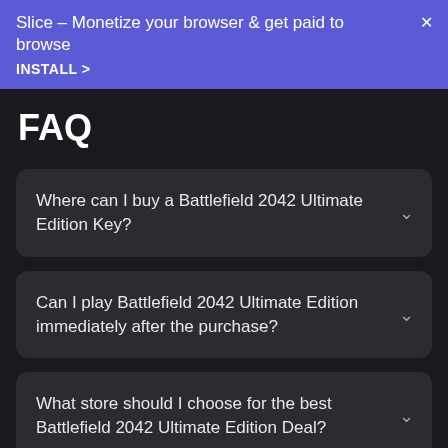Slice – Monetize your browser & get paid to browse
INSTALL >
FAQ
Where can I buy a Battlefield 2042 Ultimate Edition Key?
Can I play Battlefield 2042 Ultimate Edition immediately after the purchase?
What store should I choose for the best Battlefield 2042 Ultimate Edition Deal?